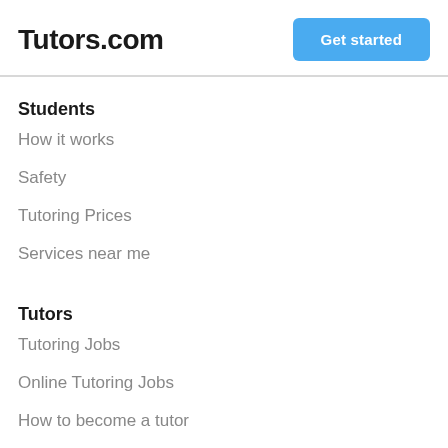Tutors.com
Students
How it works
Safety
Tutoring Prices
Services near me
Tutors
Tutoring Jobs
Online Tutoring Jobs
How to become a tutor
Pro guide